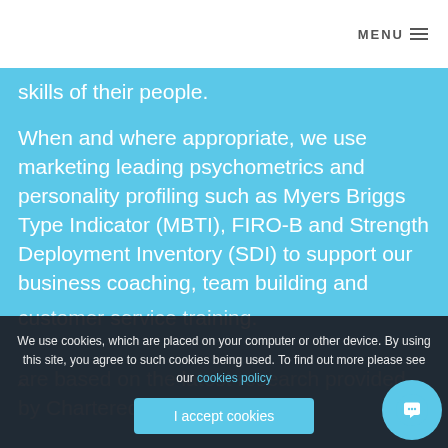MENU
skills of their people.
When and where appropriate, we use marketing leading psychometrics and personality profiling such as Myers Briggs Type Indicator (MBTI), FIRO-B and Strength Deployment Inventory (SDI) to support our business coaching, team building and customer service training.
We use cookies, which are placed on your computer or other device. By using this site, you agree to such cookies being used. To find out more please see our cookies policy
I accept cookies
are based on the latest research provided by Chartered Institute of